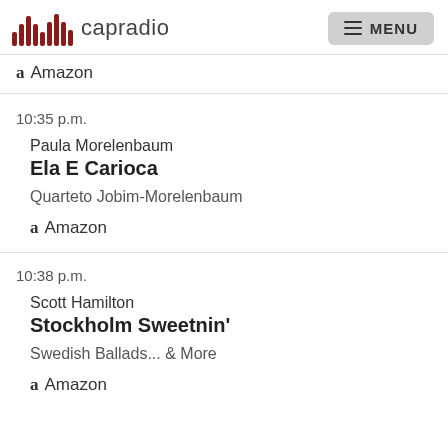capradio  MENU
Amazon
10:35 p.m.
Paula Morelenbaum
Ela E Carioca
Quarteto Jobim-Morelenbaum
Amazon
10:38 p.m.
Scott Hamilton
Stockholm Sweetnin'
Swedish Ballads... & More
Amazon